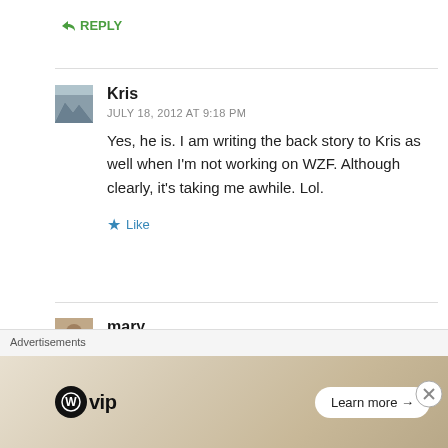↳ REPLY
Kris
JULY 18, 2012 AT 9:18 PM
Yes, he is. I am writing the back story to Kris as well when I'm not working on WZF. Although clearly, it's taking me awhile. Lol.
★ Like
mary
JULY 19, 2012 AT 2:32 AM
Mia mentions you a lot when he talks about writin…
Advertisements
WordPress VIP  Learn more →